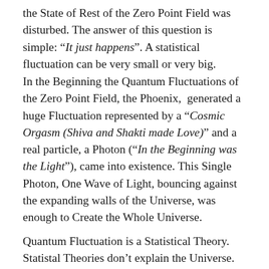the State of Rest of the Zero Point Field was disturbed. The answer of this question is simple: “It just happens”. A statistical fluctuation can be very small or very big.
In the Beginning the Quantum Fluctuations of the Zero Point Field, the Phoenix, generated a huge Fluctuation represented by a “Cosmic Orgasm (Shiva and Shakti made Love)” and a real particle, a Photon (“In the Beginning was the Light”), came into existence. This Single Photon, One Wave of Light, bouncing against the expanding walls of the Universe, was enough to Create the Whole Universe.
Quantum Fluctuation is a Statistical Theory. Statistal Theories don’t explain the Universe. They are an